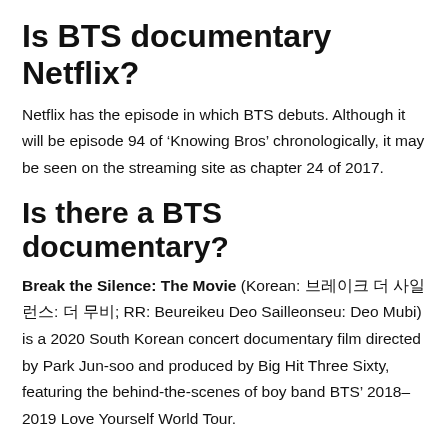Is BTS documentary Netflix?
Netflix has the episode in which BTS debuts. Although it will be episode 94 of ‘Knowing Bros’ chronologically, it may be seen on the streaming site as chapter 24 of 2017.
Is there a BTS documentary?
Break the Silence: The Movie (Korean: 브레이크 더 사일런스: 더 무비; RR: Beureikeu Deo Sailleonseu: Deo Mubi) is a 2020 South Korean concert documentary film directed by Park Jun-soo and produced by Big Hit Three Sixty, featuring the behind-the-scenes of boy band BTS’ 2018–2019 Love Yourself World Tour.
How many BTS documentary series are there?
The text here is cut off at the bottom of the image.